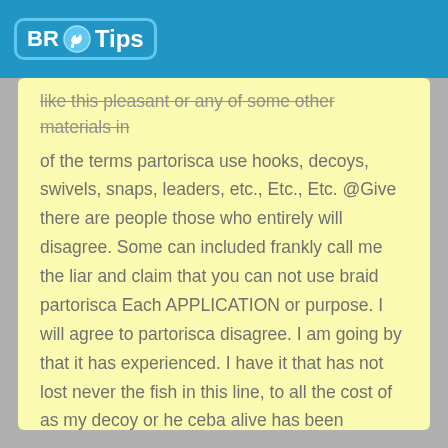BR Tips
like this pleasant or any of some other materials in of the terms partorisca use hooks, decoys, swivels, snaps, leaders, etc., Etc., Etc. @Give there are people those who entirely will disagree. Some can included frankly call me the liar and claim that you can not use braid partorisca Each APPLICATION or purpose. I will agree to partorisca disagree. I am going by that it has experienced. I have it that has not lost never the fish in this line, to all the cost of as my decoy or he ceba alive has been attached. Ossia A lot enough for me!